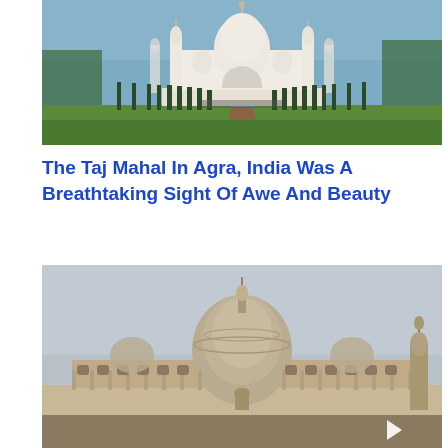[Figure (photo): Panoramic photo of the Taj Mahal in Agra, India, with the white marble mausoleum centered, flanked by tall cypress trees lining a central reflecting pool pathway, visitors visible, blue sky background with trees on sides.]
The Taj Mahal In Agra, India Was A Breathtaking Sight Of Awe And Beauty
[Figure (photo): Photo of the Rashtrapati Bhavan (Presidential residence) in New Delhi, India, showing the grand sandstone colonial building with a large central dome, ornate facade with arched windows, against a hazy sky. A small white triangle/arrow overlay visible in lower right.]